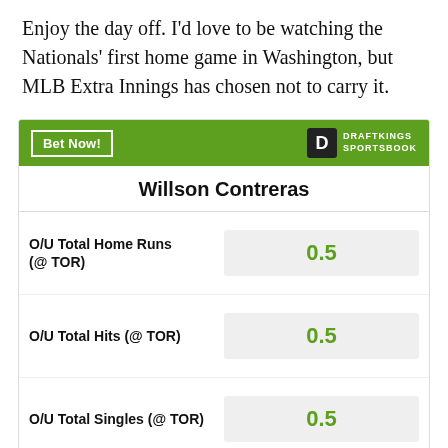Enjoy the day off. I'd love to be watching the Nationals' first home game in Washington, but MLB Extra Innings has chosen not to carry it.
| Bet | Line |
| --- | --- |
| O/U Total Home Runs (@ TOR) | 0.5 |
| O/U Total Hits (@ TOR) | 0.5 |
| O/U Total Singles (@ TOR) | 0.5 |
MORE FROM BLEED CUBBIE BLUE